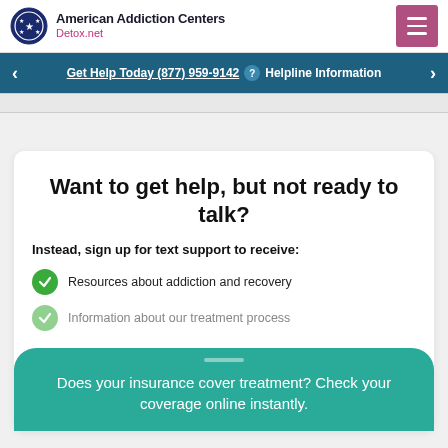American Addiction Centers Detox.net
Get Help Today (877) 959-9142  Helpline Information
Want to get help, but not ready to talk?
Instead, sign up for text support to receive:
Resources about addiction and recovery
Information about our treatment process
Does your insurance cover treatment? Check your coverage online instantly.